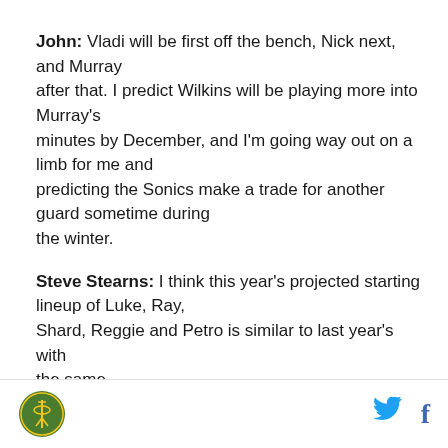John: Vladi will be first off the bench, Nick next, and Murray after that. I predict Wilkins will be playing more into Murray's minutes by December, and I'm going way out on a limb for me and predicting the Sonics make a trade for another guard sometime during the winter.
Steve Stearns: I think this year's projected starting lineup of Luke, Ray, Shard, Reggie and Petro is similar to last year's with the same
[Figure (logo): Seattle SuperSonics green circular logo]